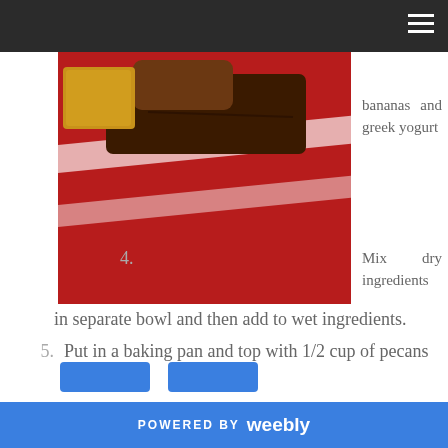[Figure (photo): Photo of banana bread slices on a red and white striped cloth/towel]
bananas and greek yogurt
Mix dry ingredients in separate bowl and then add to wet ingredients.
Put in a baking pan and top with 1/2 cup of pecans (optional)
Bake 350 for 50-55 minutes.
Cool and serve.
POWERED BY weebly